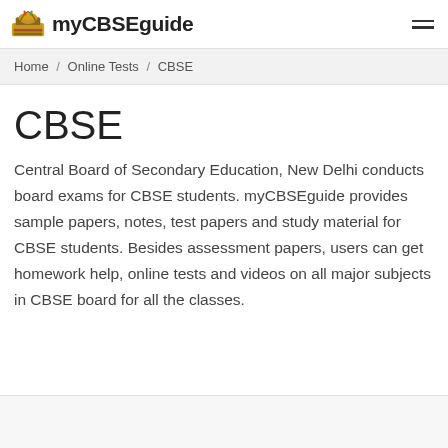myCBSEguide
Home / Online Tests / CBSE
CBSE
Central Board of Secondary Education, New Delhi conducts board exams for CBSE students. myCBSEguide provides sample papers, notes, test papers and study material for CBSE students. Besides assessment papers, users can get homework help, online tests and videos on all major subjects in CBSE board for all the classes.